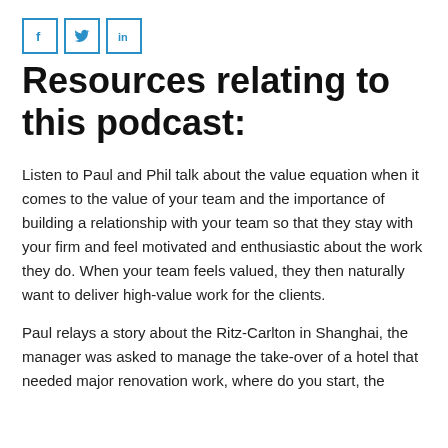[Figure (other): Three social media share buttons (Facebook, Twitter, LinkedIn) displayed as blue-bordered square icons in a row]
Resources relating to this podcast:
Listen to Paul and Phil talk about the value equation when it comes to the value of your team and the importance of building a relationship with your team so that they stay with your firm and feel motivated and enthusiastic about the work they do. When your team feels valued, they then naturally want to deliver high-value work for the clients.
Paul relays a story about the Ritz-Carlton in Shanghai, the manager was asked to manage the take-over of a hotel that needed major renovation work, where do you start, the